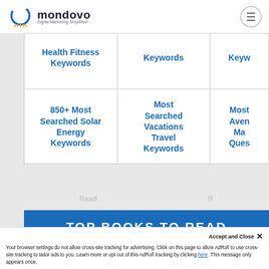mondovo - Digital Marketing Simplified
| Health Fitness Keywords | Keywords | Keyw... |
| 850+ Most Searched Solar Energy Keywords | Most Searched Vacations Travel Keywords | Most Avent... Ma... Ques... |
[Figure (other): Blue banner reading TOP BOOKS TO READ]
Accept and Close ×
Your browser settings do not allow cross-site tracking for advertising. Click on this page to allow AdRoll to use cross-site tracking to tailor ads to you. Learn more or opt out of this AdRoll tracking by clicking here. This message only appears once.